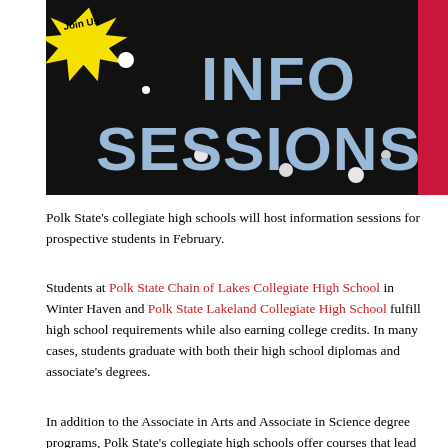[Figure (illustration): Promotional banner for Info Sessions: black background with yellow star burst graphic top-left with 'Join Us' text, large light blue bold text reading 'INFO SESSIONS', small white dots scattered, red vertical stripe on right edge.]
Polk State's collegiate high schools will host information sessions for prospective students in February.
Students at Polk State Chain of Lakes Collegiate High School in Winter Haven and Polk State Lakeland Collegiate High School fulfill high school requirements while also earning college credits. In many cases, students graduate with both their high school diplomas and associate's degrees.
In addition to the Associate in Arts and Associate in Science degree programs, Polk State's collegiate high schools offer courses that lead to